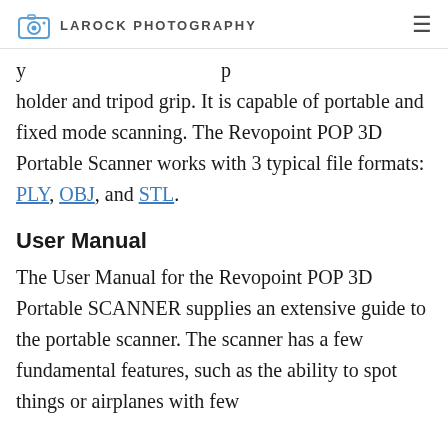LAROCK PHOTOGRAPHY
holder and tripod grip. It is capable of portable and fixed mode scanning. The Revopoint POP 3D Portable Scanner works with 3 typical file formats: PLY, OBJ, and STL.
User Manual
The User Manual for the Revopoint POP 3D Portable SCANNER supplies an extensive guide to the portable scanner. The scanner has a few fundamental features, such as the ability to spot things or airplanes with few